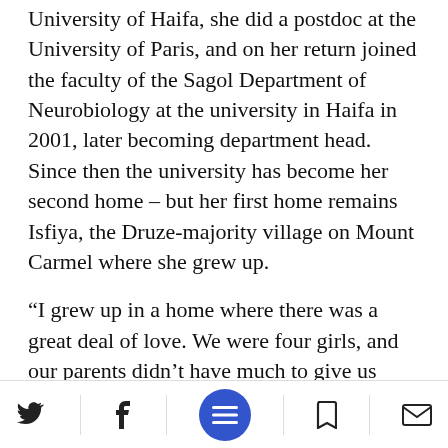University of Haifa, she did a postdoc at the University of Paris, and on her return joined the faculty of the Sagol Department of Neurobiology at the university in Haifa in 2001, later becoming department head. Since then the university has become her second home – but her first home remains Isfiya, the Druze-majority village on Mount Carmel where she grew up.
“I grew up in a home where there was a great deal of love. We were four girls, and our parents didn’t have much to give us materially, but there was plenty of lo… have memories of my